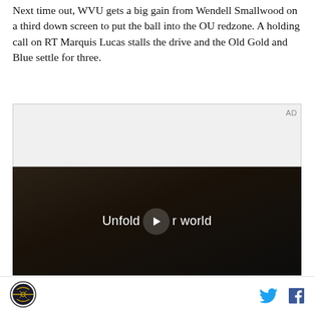Next time out, WVU gets a big gain from Wendell Smallwood on a third down screen to put the ball into the OU redzone. A holding call on RT Marquis Lucas stalls the drive and the Old Gold and Blue settle for three.
[Figure (other): Advertisement placeholder box labeled AD]
[Figure (screenshot): Video player screenshot showing Samsung advertisement with text 'Unfold your world' and a play button overlay]
Site logo | Twitter icon | Facebook icon